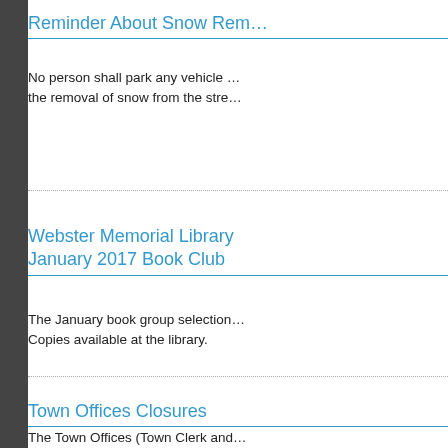Reminder About Snow Rem...
No person shall park any vehicle ... the removal of snow from the stre...
Webster Memorial Library January 2017 Book Club
The January book group selection... Copies available at the library.
Town Offices Closures
The Town Offices (Town Clerk and... December 26 and will reopen Tue...